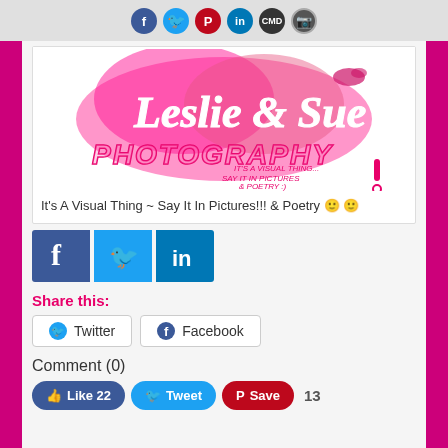Social media icon bar (Facebook, Twitter, Pinterest, LinkedIn, CMD, Instagram)
[Figure (logo): Leslie Lue Photography logo - pink cursive text on pink floral background with 'It's a Visual Thing... Say it in Pictures & Poetry :)' tagline]
It's A Visual Thing ~ Say It In Pictures!!! & Poetry 🙂 🙂
[Figure (infographic): Social media share buttons: Facebook (blue f), Twitter (blue bird), LinkedIn (blue in)]
Share this:
Twitter   Facebook
Comment (0)
Like 22   Tweet   Save   13